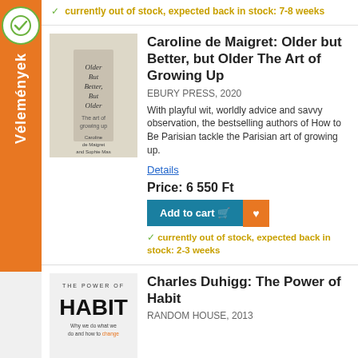[Figure (illustration): Orange sidebar tab with green checkmark circle and vertical text 'Vélemények']
✓ currently out of stock, expected back in stock: 7-8 weeks
[Figure (photo): Book cover of 'Older But Better, But Older: The Art of Growing Up' by Caroline de Maigret]
Caroline de Maigret: Older but Better, but Older The Art of Growing Up
EBURY PRESS, 2020
With playful wit, worldly advice and savvy observation, the bestselling authors of How to Be Parisian tackle the Parisian art of growing up.
Details
Price: 6 550 Ft
Add to cart
✓ currently out of stock, expected back in stock: 2-3 weeks
[Figure (photo): Book cover of 'The Power of Habit' by Charles Duhigg]
Charles Duhigg: The Power of Habit
RANDOM HOUSE, 2013